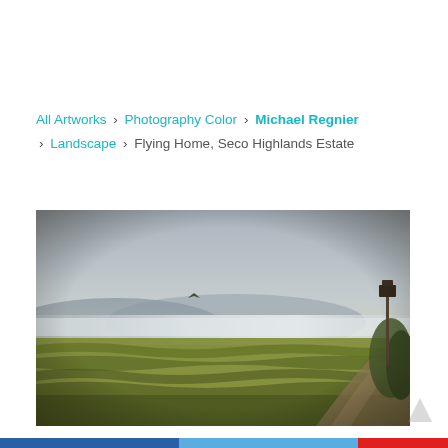All Artworks › Photography Color › Michael Regnier › Landscape › Flying Home, Seco Highlands Estate
[Figure (photo): Landscape photograph titled 'Flying Home, Seco Highlands Estate' by Michael Regnier. Shows a vineyard in the foreground with a dirt road on the right, rolling hills in the background under a hazy sky. A bird visible mid-air and a birdhouse on a pole at right edge.]